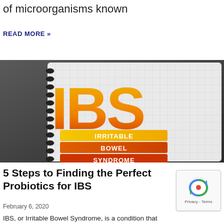of microorganisms known
READ MORE »
[Figure (photo): IBS acronym on a spiral notebook with graph paper background. Large letters 'IBS' in yellow-to-orange gradient, with labels 'IRRITABLE BOWEL SYNDROME' on orange/yellow banners below.]
5 Steps to Finding the Perfect Probiotics for IBS
February 6, 2020
IBS, or Irritable Bowel Syndrome, is a condition that